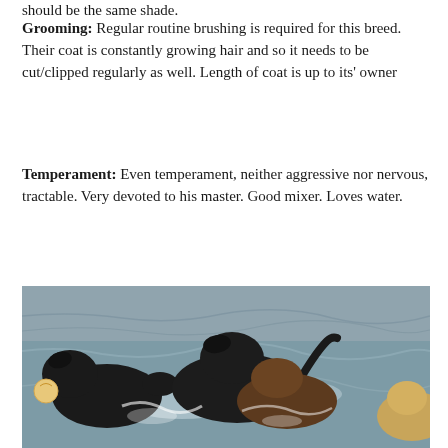should be the same shade.
Grooming: Regular routine brushing is required for this breed. Their coat is constantly growing hair and so it needs to be cut/clipped regularly as well. Length of coat is up to its' owner
Temperament: Even temperament, neither aggressive nor nervous, tractable. Very devoted to his master. Good mixer. Loves water.
[Figure (photo): Several dogs swimming in water; black, brown/chocolate, and golden colored dogs playing in shallow water, one holding a ball in its mouth.]